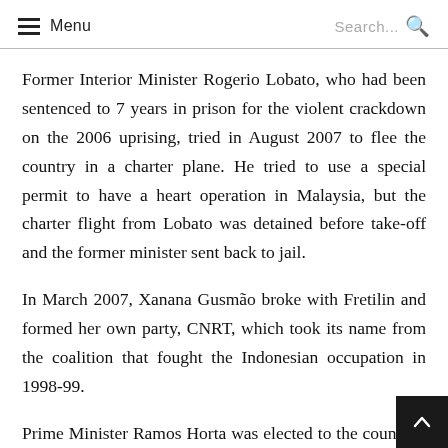Menu | Search...
Former Interior Minister Rogerio Lobato, who had been sentenced to 7 years in prison for the violent crackdown on the 2006 uprising, tried in August 2007 to flee the country in a charter plane. He tried to use a special permit to have a heart operation in Malaysia, but the charter flight from Lobato was detained before take-off and the former minister sent back to jail.
In March 2007, Xanana Gusmão broke with Fretilin and formed her own party, CNRT, which took its name from the coalition that fought the Indonesian occupation in 1998-99.
Prime Minister Ramos Horta was elected to the country's president in May 2007 in the second round of elections, a inaugurated a few weeks later. Fretilin won the